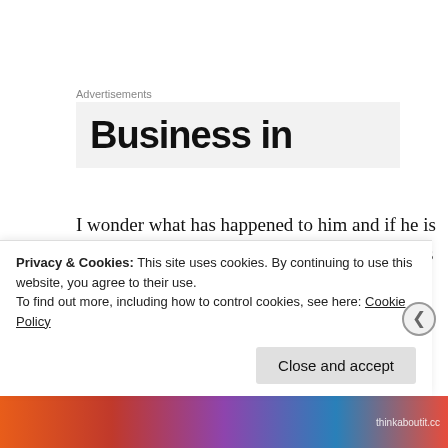Advertisements
[Figure (other): Advertisement banner showing partial text 'Business in' in large bold font on a light grey background]
I wonder what has happened to him and if he is still trying his routine on  unsuspecting tourists – if any still visit in the wake of 2013 military overthrow and the terrible situation of Peter Greste, his colleagues and thousands of others arrested, tortured and murdered.
Privacy & Cookies: This site uses cookies. By continuing to use this website, you agree to their use.
To find out more, including how to control cookies, see here: Cookie Policy
Close and accept